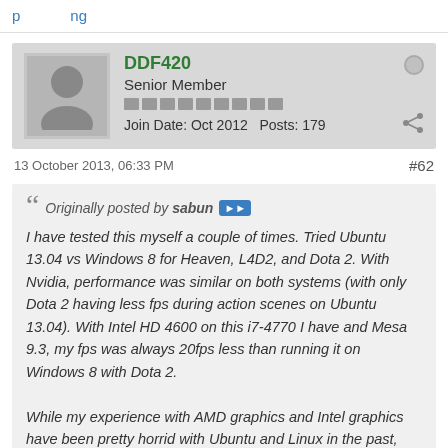...p...ng...
DDF420
Senior Member
Join Date: Oct 2012   Posts: 179
13 October 2013, 06:33 PM   #62
Originally posted by sabun
I have tested this myself a couple of times. Tried Ubuntu 13.04 vs Windows 8 for Heaven, L4D2, and Dota 2. With Nvidia, performance was similar on both systems (with only Dota 2 having less fps during action scenes on Ubuntu 13.04). With Intel HD 4600 on this i7-4770 I have and Mesa 9.3, my fps was always 20fps less than running it on Windows 8 with Dota 2.

While my experience with AMD graphics and Intel graphics have been pretty horrid with Ubuntu and Linux in the past, Intel has come to a point where they